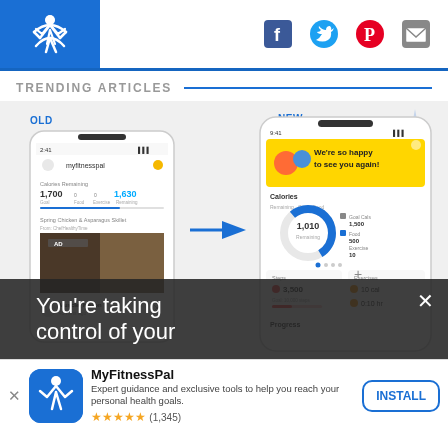[Figure (logo): MyFitnessPal logo - white figure on blue background in header]
[Figure (infographic): Social media icons: Facebook, Twitter, Pinterest, Email in header]
TRENDING ARTICLES
[Figure (screenshot): Side-by-side comparison of MyFitnessPal app: OLD version (left) showing myfitnesspal home screen with Calories Remaining, Spring Chicken & Asparagus Skillet, and Muscle_Mason post; NEW version (right) showing updated app with greeting 'We're so happy to see you again!', Calories donut chart showing 1,010 Remaining, Steps 3,500, Exercises 10 cal, 0:10 hr, Progress section. Blue arrow pointing from old to new.]
You're taking control of your
[Figure (logo): MyFitnessPal app icon - white figure on blue rounded square]
MyFitnessPal
Expert guidance and exclusive tools to help you reach your personal health goals.
★★★★★ (1,345)
INSTALL